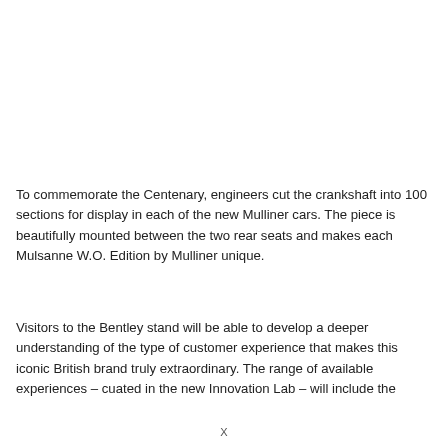To commemorate the Centenary, engineers cut the crankshaft into 100 sections for display in each of the new Mulliner cars. The piece is beautifully mounted between the two rear seats and makes each Mulsanne W.O. Edition by Mulliner unique.
Visitors to the Bentley stand will be able to develop a deeper understanding of the type of customer experience that makes this iconic British brand truly extraordinary. The range of available experiences – cuated in the new Innovation Lab – will include the
X